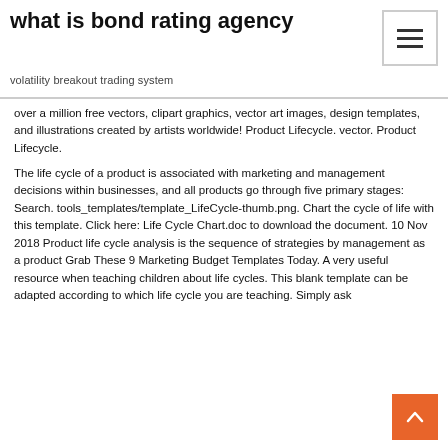what is bond rating agency
volatility breakout trading system
over a million free vectors, clipart graphics, vector art images, design templates, and illustrations created by artists worldwide! Product Lifecycle. vector. Product Lifecycle.
The life cycle of a product is associated with marketing and management decisions within businesses, and all products go through five primary stages: Search. tools_templates/template_LifeCycle-thumb.png. Chart the cycle of life with this template. Click here: Life Cycle Chart.doc to download the document. 10 Nov 2018 Product life cycle analysis is the sequence of strategies by management as a product Grab These 9 Marketing Budget Templates Today. A very useful resource when teaching children about life cycles. This blank template can be adapted according to which life cycle you are teaching. Simply ask